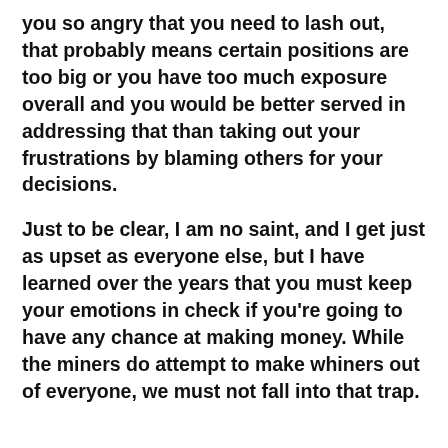you so angry that you need to lash out, that probably means certain positions are too big or you have too much exposure overall and you would be better served in addressing that than taking out your frustrations by blaming others for your decisions.
Just to be clear, I am no saint, and I get just as upset as everyone else, but I have learned over the years that you must keep your emotions in check if you're going to have any chance at making money. While the miners do attempt to make whiners out of everyone, we must not fall into that trap.